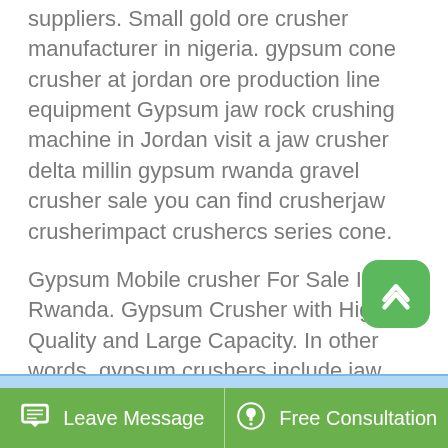suppliers. Small gold ore crusher manufacturer in nigeria. gypsum cone crusher at jordan ore production line equipment Gypsum jaw rock crushing machine in Jordan visit a jaw crusher delta millin gypsum rwanda gravel crusher sale you can find crusherjaw crusherimpact crushercs series cone.
Gypsum Mobile crusher For Sale In Rwanda. Gypsum Crusher with High Quality and Large Capacity. In other words, gypsum crushers include jaw crusher, impact crusher and hammer crusher today, aimix will give you a detailed description of these machines gypsum raw material performance advantages of gypsum crusher aimix specializes in the production.
[Figure (other): Scroll-to-top button: rounded green square with white upward chevron arrow]
Leave Message   Free Consultation